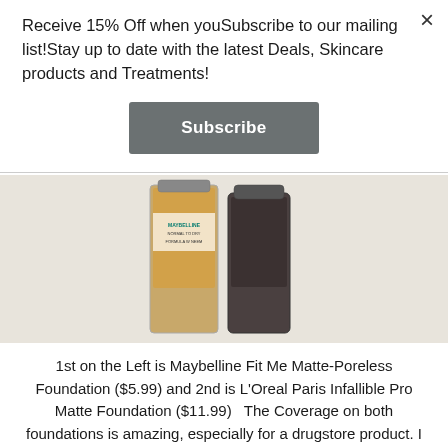Receive 15% Off when youSubscribe to our mailing list!Stay up to date with the latest Deals, Skincare products and Treatments!
Subscribe
[Figure (photo): Two foundation bottles side by side on a white surface. Left bottle is Maybelline Fit Me Matte-Poreless Foundation (golden/amber colored liquid visible), right bottle is L'Oreal Paris Infallible Pro Matte Foundation (dark brown/grey bottle).]
1st on the Left is Maybelline Fit Me Matte-Poreless Foundation ($5.99) and 2nd is L'Oreal Paris Infallible Pro Matte Foundation ($11.99)   The Coverage on both foundations is amazing, especially for a drugstore product. I typically wear makeup, on a normal day for about 8 hours and my makeup is